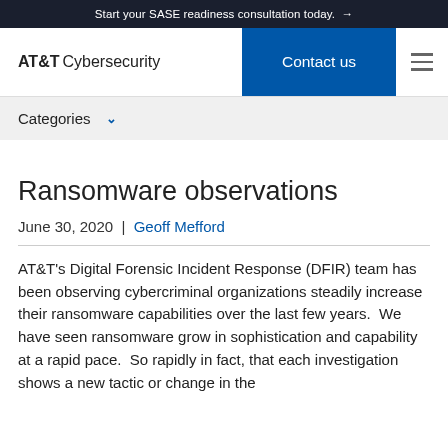Start your SASE readiness consultation today. →
[Figure (logo): AT&T Cybersecurity logo with Contact us button and hamburger menu]
Categories ∨
Ransomware observations
June 30, 2020  |  Geoff Mefford
AT&T's Digital Forensic Incident Response (DFIR) team has been observing cybercriminal organizations steadily increase their ransomware capabilities over the last few years.  We have seen ransomware grow in sophistication and capability at a rapid pace.  So rapidly in fact, that each investigation shows a new tactic or change in the